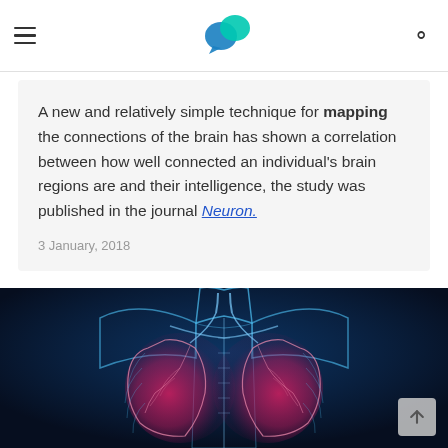Navigation header with hamburger menu, logo, and search icon
A new and relatively simple technique for mapping the connections of the brain has shown a correlation between how well connected an individual's brain regions are and their intelligence, the study was published in the journal Neuron.
3 January, 2018
[Figure (illustration): Medical illustration of a human torso showing glowing blue skeletal/anatomical structure with highlighted lungs in pink/red on a dark blue background]